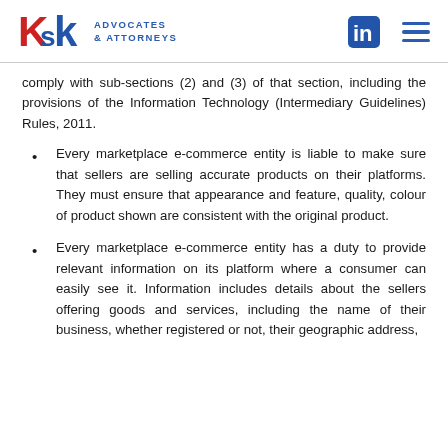KSK ADVOCATES & ATTORNEYS
comply with sub-sections (2) and (3) of that section, including the provisions of the Information Technology (Intermediary Guidelines) Rules, 2011.
Every marketplace e-commerce entity is liable to make sure that sellers are selling accurate products on their platforms. They must ensure that appearance and feature, quality, colour of product shown are consistent with the original product.
Every marketplace e-commerce entity has a duty to provide relevant information on its platform where a consumer can easily see it. Information includes details about the sellers offering goods and services, including the name of their business, whether registered or not, their geographic address,